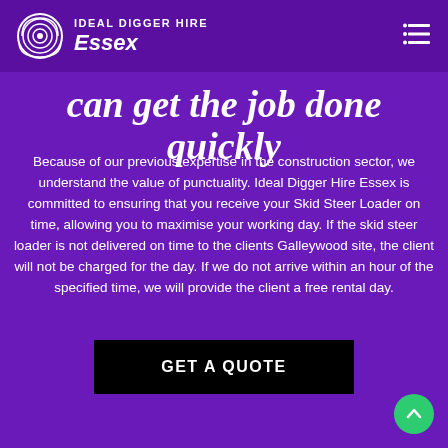IDEAL DIGGER HIRE Essex
can get the job done quickly
Because of our previous expertise in the construction sector, we understand the value of punctuality. Ideal Digger Hire Essex is committed to ensuring that you receive your Skid Steer Loader on time, allowing you to maximise your working day. If the skid steer loader is not delivered on time to the clients Galleywood site, the client will not be charged for the day. If we do not arrive within an hour of the specified time, we will provide the client a free rental day.
GET A QUOTE